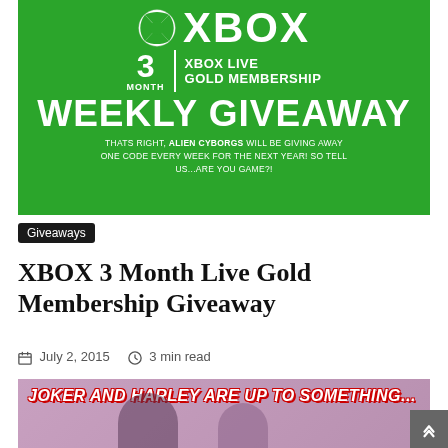[Figure (infographic): Xbox Live Gold Membership 3 Month Weekly Giveaway promotional banner on green background with Xbox logo]
Giveaways
XBOX 3 Month Live Gold Membership Giveaway
July 2, 2015  3 min read
[Figure (photo): Two people dressed as Joker and Harley Quinn with text 'JOKER AND HARLEY ARE UP TO SOMETHING...' overlaid]